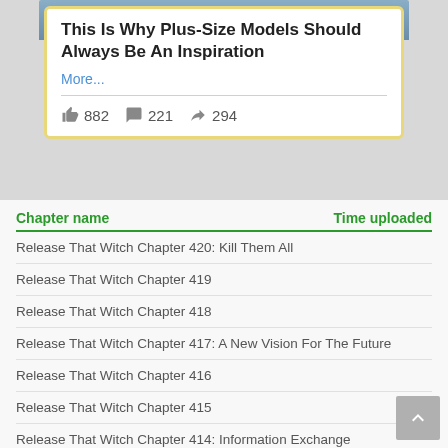[Figure (screenshot): Social media card with photo of a woman, article title 'This Is Why Plus-Size Models Should Always Be An Inspiration', More... link, and engagement stats: 882 likes, 221 comments, 294 shares]
| Chapter name | Time uploaded |
| --- | --- |
| Release That Witch Chapter 420: Kill Them All |  |
| Release That Witch Chapter 419 |  |
| Release That Witch Chapter 418 |  |
| Release That Witch Chapter 417: A New Vision For The Future |  |
| Release That Witch Chapter 416 |  |
| Release That Witch Chapter 415 |  |
| Release That Witch Chapter 414: Information Exchange |  |
| Release That Witch Chapter 413: Surprising Meeting |  |
| Release That Witch Chapter 412: Test |  |
| Release That Witch Chapter 411 |  |
| Release That Witch Chapter 410 |  |